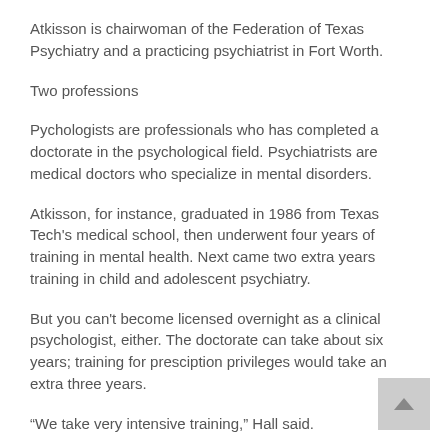Atkisson is chairwoman of the Federation of Texas Psychiatry and a practicing psychiatrist in Fort Worth.
Two professions
Pychologists are professionals who has completed a doctorate in the psychological field. Psychiatrists are medical doctors who specialize in mental disorders.
Atkisson, for instance, graduated in 1986 from Texas Tech's medical school, then underwent four years of training in mental health. Next came two extra years training in child and adolescent psychiatry.
But you can't become licensed overnight as a clinical psychologist, either. The doctorate can take about six years; training for presciption privileges would take an extra three years.
“We take very intensive training,” Hall said.